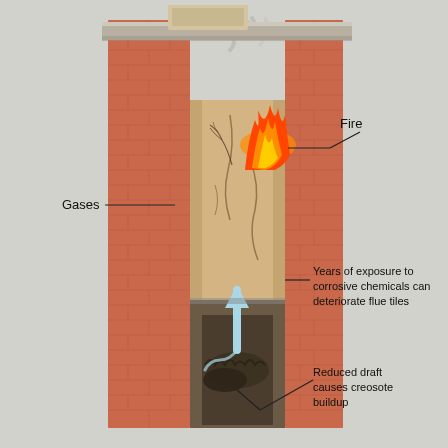[Figure (schematic): Cross-section diagram of a brick chimney showing internal damage. The chimney is cut away to reveal: fire and flames at the top near the flue opening with smoke escaping, cracked and deteriorating flue tiles in the middle section, creosote buildup at the bottom interior, and a white upward arrow indicating gas/draft direction. Labels point to: 'Gases' on the left side near the top, 'Fire' on the upper right, 'Years of exposure to corrosive chemicals can deteriorate flue tiles' on the right middle, and 'Reduced draft causes creosote buildup' on the lower right. The background is a light gray textured surface.]